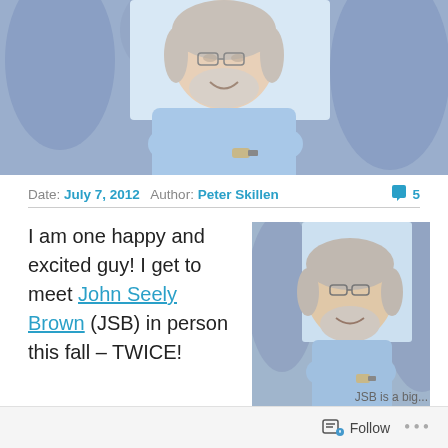[Figure (photo): Smiling older man with gray hair and beard, wearing a light blue shirt, arms crossed, laughing, in an office environment with blue-tinted background.]
Date: July 7, 2012   Author: Peter Skillen   💬 5
[Figure (photo): Same smiling older man with gray hair and beard, wearing a light blue shirt, arms crossed, in an office environment with blue-tinted trees background.]
I am one happy and excited guy!  I get to meet John Seely Brown (JSB) in person this fall – TWICE!
JSB is a big...
Follow ...